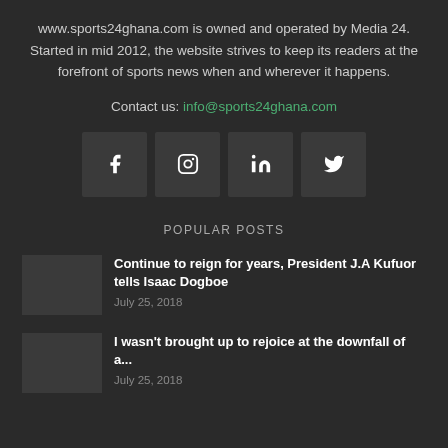www.sports24ghana.com is owned and operated by Media 24. Started in mid 2012, the website strives to keep its readers at the forefront of sports news when and wherever it happens.
Contact us: info@sports24ghana.com
[Figure (infographic): Four social media icon buttons: Facebook (f), Instagram, LinkedIn (in), Twitter (bird icon)]
POPULAR POSTS
Continue to reign for years, President J.A Kufuor tells Isaac Dogboe
July 25, 2018
I wasn't brought up to rejoice at the downfall of a...
July 25, 2018